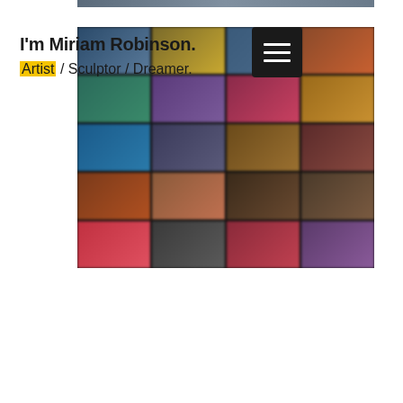I'm Miriam Robinson.
Artist / Sculptor / Dreamer.
[Figure (photo): A blurred portfolio grid of colorful artwork thumbnails arranged in 5 rows and 4 columns, with dark dividers between cells. Colors range from blues, purples, oranges, reds, and yellows.]
[Figure (other): Hamburger menu button icon — dark square with three white horizontal lines]